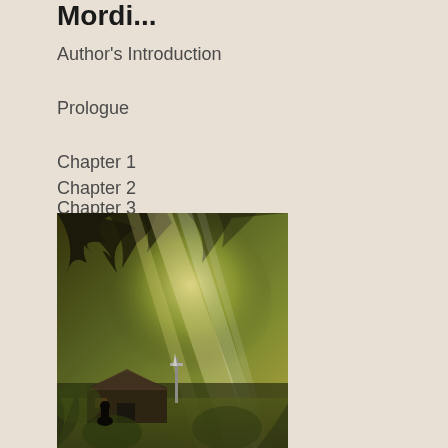Mordi...
Author's Introduction
Prologue
Chapter 1
Chapter 2
Chapter 3
[Figure (illustration): A fantasy forest illustration with golden light rays streaming through dark tree branches, illuminating a small wooden cabin and a figure in a misty green woodland setting.]